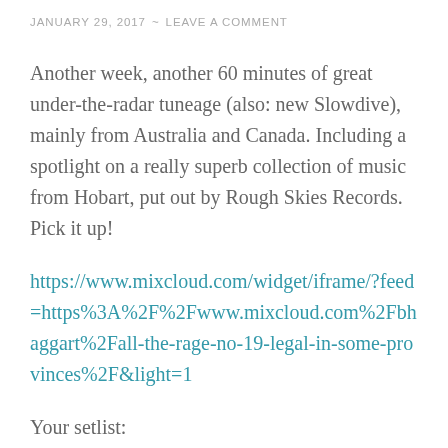JANUARY 29, 2017 ~ LEAVE A COMMENT
Another week, another 60 minutes of great under-the-radar tuneage (also: new Slowdive), mainly from Australia and Canada. Including a spotlight on a really superb collection of music from Hobart, put out by Rough Skies Records. Pick it up!
https://www.mixcloud.com/widget/iframe/?feed=https%3A%2F%2Fwww.mixcloud.com%2Fbhaggart%2Fall-the-rage-no-19-legal-in-some-provinces%2F&light=1
Your setlist:
Jack T Wotton and the Wünderz, The Böy